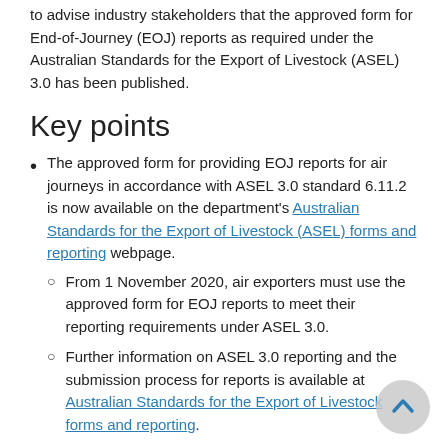to advise industry stakeholders that the approved form for End-of-Journey (EOJ) reports as required under the Australian Standards for the Export of Livestock (ASEL) 3.0 has been published.
Key points
The approved form for providing EOJ reports for air journeys in accordance with ASEL 3.0 standard 6.11.2 is now available on the department's Australian Standards for the Export of Livestock (ASEL) forms and reporting webpage.
From 1 November 2020, air exporters must use the approved form for EOJ reports to meet their reporting requirements under ASEL 3.0.
Further information on ASEL 3.0 reporting and the submission process for reports is available at Australian Standards for the Export of Livestock forms and reporting.